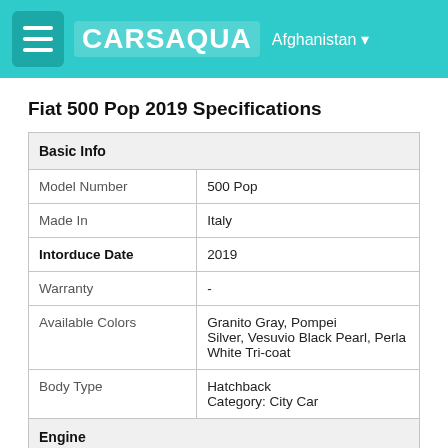CARSAQUA Afghanistan
Fiat 500 Pop 2019 Specifications
| Basic Info |  |
| Model Number | 500 Pop |
| Made In | Italy |
| Intorduce Date | 2019 |
| Warranty | - |
| Available Colors | Granito Gray, Pompei Silver, Vesuvio Black Pearl, Perla White Tri-coat |
| Body Type | Hatchback
Category: City Car |
| Engine |  |
| Engine Type | I-4 1,4 l |
| Displacement (Cc) | - |
| Engine Power | 135 hp @ 5,500 rpm (101 kW) |
| Torque | 150 lb·ft @ 2,400 – 4,200 rpm |